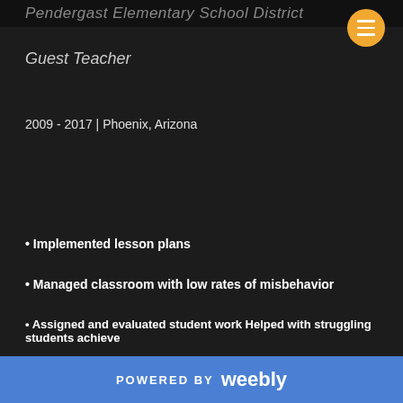Pendergast Elementary School District
Guest Teacher
2009 - 2017 | Phoenix, Arizona
• Implemented lesson plans
• Managed classroom with low rates of misbehavior
• Assigned and evaluated student work Helped with struggling students achieve
POWERED BY weebly